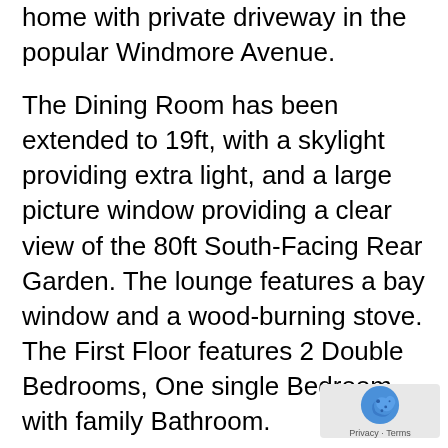home with private driveway in the popular Windmore Avenue.
The Dining Room has been extended to 19ft, with a skylight providing extra light, and a large picture window providing a clear view of the 80ft South-Facing Rear Garden. The lounge features a bay window and a wood-burning stove. The First Floor features 2 Double Bedrooms, One single Bedroom with family Bathroom.
**Sold with PLANNING PERMISSION GRANTED for TWO STOREY SIDE EXTENSION, PART SINGLE/PART TWO STOREY REAR EXTENSION AND NEW FRONT PORCH.**
This already bright and spacious property provides the opportunity (if required) to convert into a 4 Bedroom Home with a huge Open Plan Living Room, Kitchen dining room and much more (subject to the necessary...